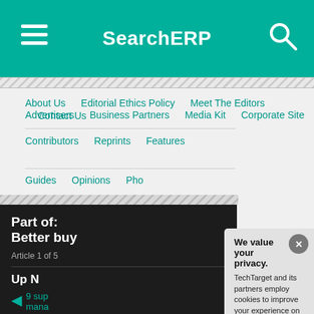SearchERP
About Us  Editorial Ethics Policy  Meet The Editors  Contact Us  Advertisers  Business Partners  Media Kit  Corporate Site
Contributors  Reprints  Features
Guides  Opinions  Pho...
Part of: Better buy
Article 1 of 5
Up N...
9 sup... mana...
We value your privacy. TechTarget and its partners employ cookies to improve your experience on our site, to analyze traffic and performance, and to serve personalized content and advertising that are relevant to your professional interests. You can manage your settings at any time. Please view our Privacy Policy for more information